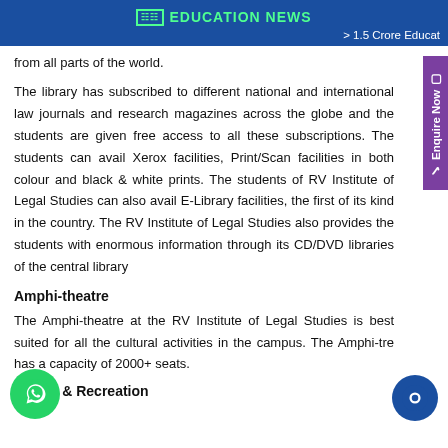EDUCATION NEWS
> 1.5 Crore Educat
from all parts of the world.
The library has subscribed to different national and international law journals and research magazines across the globe and the students are given free access to all these subscriptions. The students can avail Xerox facilities, Print/Scan facilities in both colour and black & white prints. The students of RV Institute of Legal Studies can also avail E-Library facilities, the first of its kind in the country. The RV Institute of Legal Studies also provides the students with enormous information through its CD/DVD libraries of the central library
Amphi-theatre
The Amphi-theatre at the RV Institute of Legal Studies is best suited for all the cultural activities in the campus. The Amphi-tre has a capacity of 2000+ seats.
Sports & Recreation